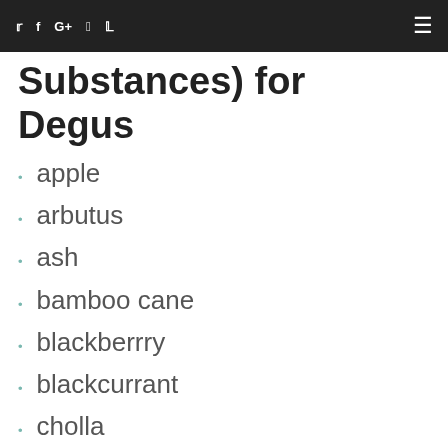🐦 f G+ v p ≡
Substances) for Degus
apple
arbutus
ash
bamboo cane
blackberrry
blackcurrant
cholla
coconut shell
cottonwood